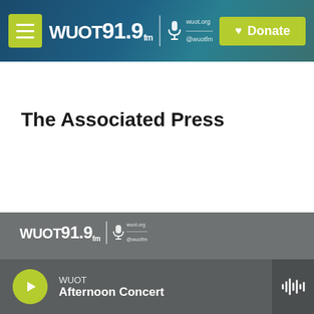WUOT 91.9 FM | wuot.org @wuotfm | Donate
The Associated Press
WUOT 91.9 FM | WUOT Afternoon Concert